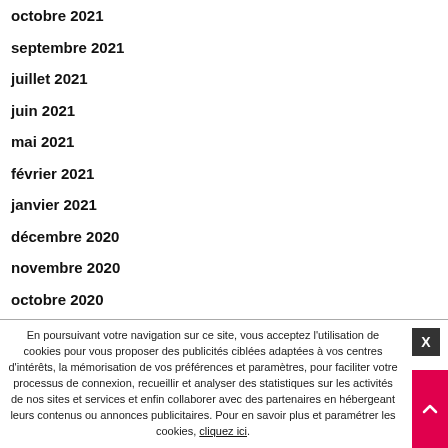octobre 2021
septembre 2021
juillet 2021
juin 2021
mai 2021
février 2021
janvier 2021
décembre 2020
novembre 2020
octobre 2020
septembre 2020
En poursuivant votre navigation sur ce site, vous acceptez l'utilisation de cookies pour vous proposer des publicités ciblées adaptées à vos centres d'intérêts, la mémorisation de vos préférences et paramètres, pour faciliter votre processus de connexion, recueillir et analyser des statistiques sur les activités de nos sites et services et enfin collaborer avec des partenaires en hébergeant leurs contenus ou annonces publicitaires. Pour en savoir plus et paramétrer les cookies, cliquez ici.